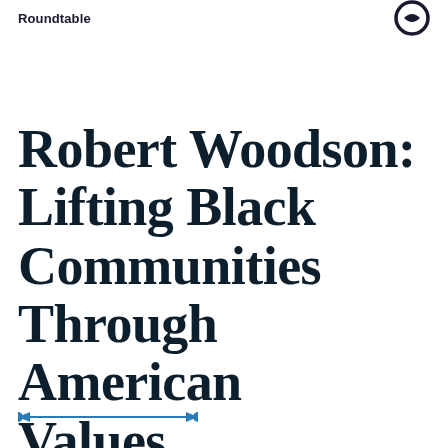Roundtable
Robert Woodson: Lifting Black Communities Through American Values